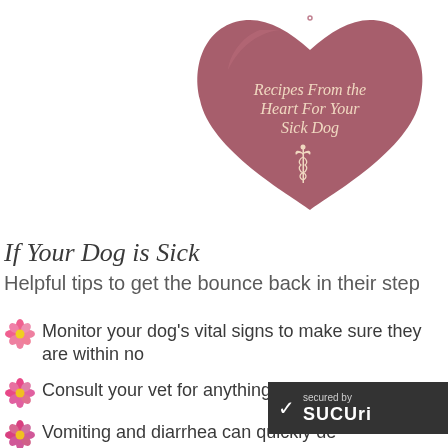[Figure (illustration): A dark rose/mauve colored heart shape with the text 'Recipes From the Heart For Your Sick Dog' and a caduceus medical symbol in cream/white color]
If Your Dog is Sick
Helpful tips to get the bounce back in their step
Monitor your dog's vital signs to make sure they are within no
Consult your vet for anything out of the normal
Vomiting and diarrhea can quickly de... your dog...